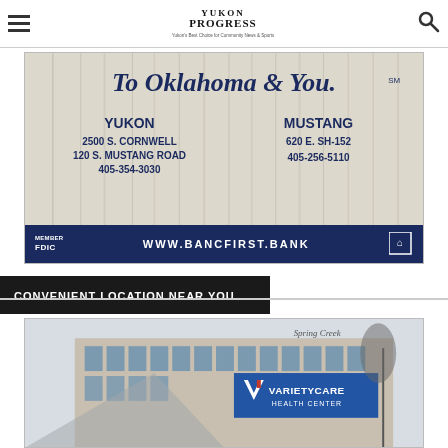Yukon Progress — Yukon's Best Choice for Community News & Sports
[Figure (illustration): BancFirst bank advertisement with wood-plank background. Tagline: 'To Oklahoma & You.℠'. Yukon location: 2500 S. Cornwell, 120 S. Mustang Road, 405-354-3030. Mustang location: 620 E. SH-152, 405-256-5110. Bottom bar: Member FDIC, www.bancfirst.bank, Equal Housing Lender logo.]
CONVENIENT LOCATION NEAR YOU
[Figure (photo): Exterior photo of Spring Creek office building featuring VarietyCare Health Center sign with logo.]